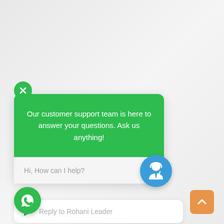[Figure (screenshot): Green circular close (X) button]
Our customer support team is here to answer your questions. Ask us anything!
Hi, How can I help?
Reply to Rohani Leader
[Figure (illustration): WhatsApp green circular button with phone icon]
[Figure (illustration): Orange scroll-to-top button with upward chevron]